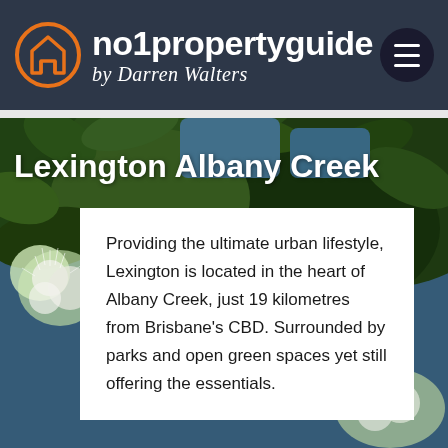no1propertyguide by Darren Walters
[Figure (photo): Background nature photo of eucalyptus flowers (white fluffy blooms) and green leaves against a blue sky, used as hero image for Lexington Albany Creek property listing]
Lexington Albany Creek
Providing the ultimate urban lifestyle, Lexington is located in the heart of Albany Creek, just 19 kilometres from Brisbane's CBD. Surrounded by parks and open green spaces yet still offering the essentials.